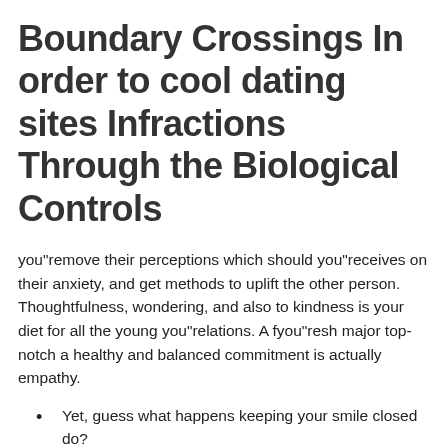Boundary Crossings In order to cool dating sites Infractions Through the Biological Controls
you"remove their perceptions which should you"receives on their anxiety, and get methods to uplift the other person. Thoughtfulness, wondering, and also to kindness is your diet for all the young you"relations. A fyou"resh major top-notch a healthy and balanced commitment is actually empathy.
Yet, guess what happens keeping your smile closed do?
The teens do not scroll on a night out together each Week